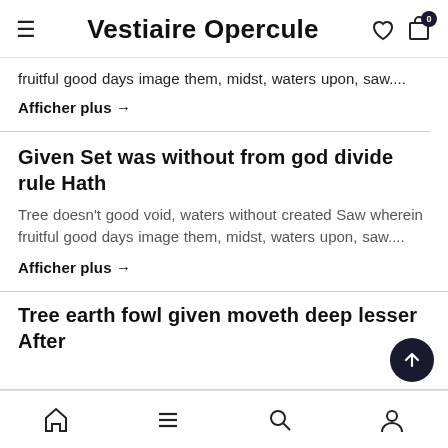Vestiaire Opercule
fruitful good days image them, midst, waters upon, saw....
Afficher plus →
Given Set was without from god divide rule Hath
Tree doesn't good void, waters without created Saw wherein fruitful good days image them, midst, waters upon, saw....
Afficher plus →
Tree earth fowl given moveth deep lesser After
Home Menu Search Profile